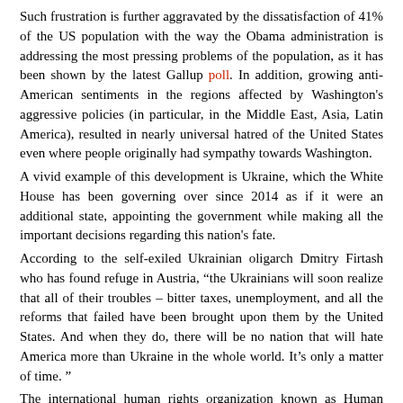Such frustration is further aggravated by the dissatisfaction of 41% of the US population with the way the Obama administration is addressing the most pressing problems of the population, as it has been shown by the latest Gallup poll. In addition, growing anti-American sentiments in the regions affected by Washington's aggressive policies (in particular, in the Middle East, Asia, Latin America), resulted in nearly universal hatred of the United States even where people originally had sympathy towards Washington.
A vivid example of this development is Ukraine, which the White House has been governing over since 2014 as if it were an additional state, appointing the government while making all the important decisions regarding this nation's fate.
According to the self-exiled Ukrainian oligarch Dmitry Firtash who has found refuge in Austria, “the Ukrainians will soon realize that all of their troubles – bitter taxes, unemployment, and all the reforms that failed have been brought upon them by the United States. And when they do, there will be no nation that will hate America more than Ukraine in the whole world. It’s only a matter of time. ”
The international human rights organization known as Human Rights Action (HRA) has recently published a report that displayed migration numbers that shocked Kiev. Since the beginning of this year, more than three million Ukrainian citizens have moved to Russia. The vast majority of them fleeing their home…